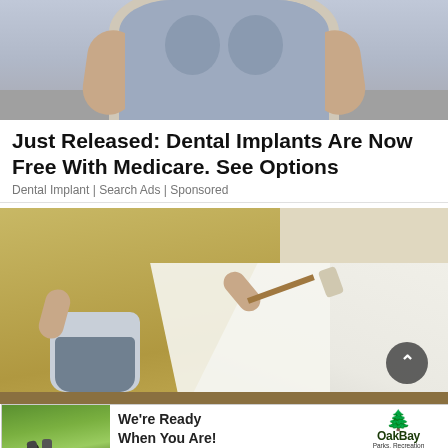[Figure (photo): Cropped photo of a woman's torso in a tight grey/blue shirt, arms visible, outdoor background]
Just Released: Dental Implants Are Now Free With Medicare. See Options
Dental Implant | Search Ads | Sponsored
[Figure (photo): A bald man painting a wall white with a roller in a tan/beige room]
[Figure (photo): Advertisement banner: golfer on green grass, text 'We're Ready When You Are!', Oak Bay Parks Recreation & Culture logo]